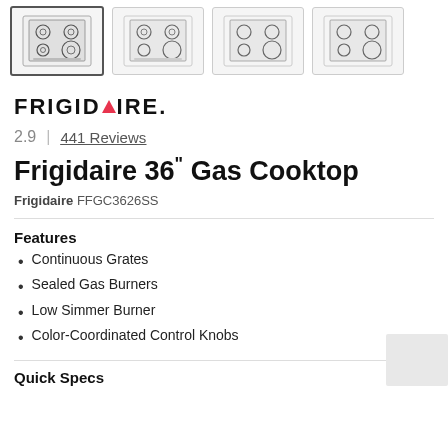[Figure (photo): Four thumbnail images of a Frigidaire 36 inch gas cooktop, shown from above. The first thumbnail has a selected border.]
[Figure (logo): Frigidaire brand logo in bold uppercase letters with a red triangle replacing the letter A]
2.9  |  441 Reviews
Frigidaire 36" Gas Cooktop
Frigidaire FFGC3626SS
Features
Continuous Grates
Sealed Gas Burners
Low Simmer Burner
Color-Coordinated Control Knobs
Quick Specs